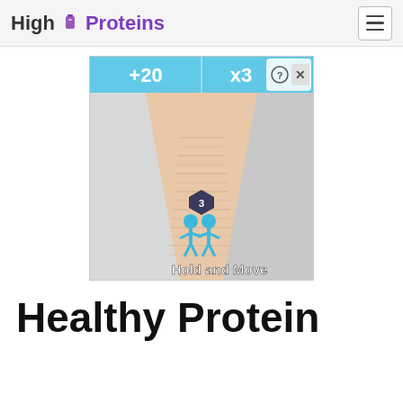High Proteins
[Figure (screenshot): Mobile game advertisement showing a 3D bowling-alley-like sandy corridor. Two cyan/blue stick figures stand in the foreground with a dark shield badge showing '3' above them. Text overlay reads 'Hold and Move'. Top bar shows '+20' and 'x3' bonus indicators with a close button (x).]
Healthy Protein